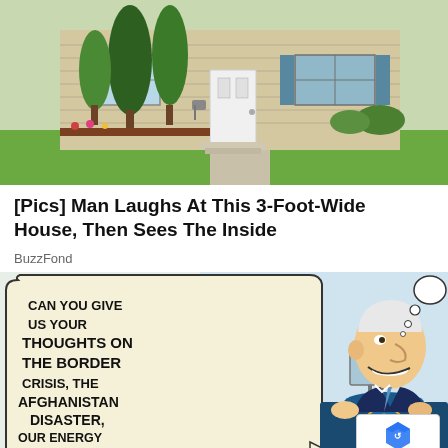[Figure (photo): Photo of a suburban house exterior with green lawn, trees, and a driveway]
[Pics] Man Laughs At This 3-Foot-Wide House, Then Sees The Inside
BuzzFond
[Figure (illustration): Political cartoon showing a caricature of a politician at a presidential podium with an empty thought bubble, while a speech bubble on the left reads: CAN YOU GIVE US YOUR THOUGHTS ON THE BORDER CRISIS, THE AFGHANISTAN DISASTER, OUR ENERGY INDEPENDENCE GONE, INFLATION, AND RISING CRIME ACROSS AMERICA]